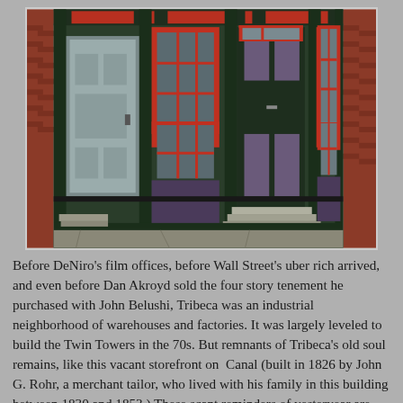[Figure (photo): Photograph of a historic storefront building facade with dark green painted wood trim, red-framed windows with multi-pane sash, a central dark green double door entrance, a gray side door on the left, brick visible on the right edge, and a sidewalk in the foreground.]
Before DeNiro's film offices, before Wall Street's uber rich arrived, and even before Dan Akroyd sold the four story tenement he purchased with John Belushi, Tribeca was an industrial neighborhood of warehouses and factories. It was largely leveled to build the Twin Towers in the 70s. But remnants of Tribeca's old soul remains, like this vacant storefront on  Canal (built in 1826 by John G. Rohr, a merchant tailor, who lived with his family in this building between 1830 and 1853.) These scant reminders of yesteryear are surrounded by freshly renovated buildings using their former blue collar glory as a selling point to the well heeled...such as the soap factory apartments nearby..